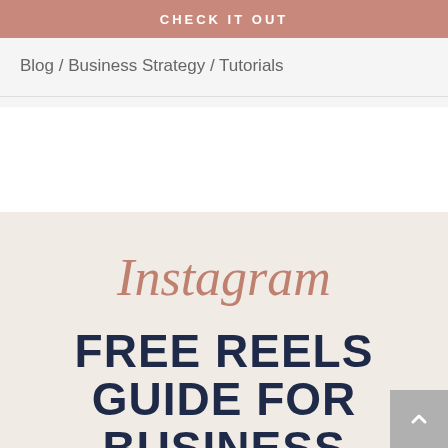[Figure (other): Pink/rose button bar with text CHECK IT OUT]
Blog / Business Strategy / Tutorials
[Figure (illustration): Instagram written in cursive/script font in rose color on beige background]
FREE REELS GUIDE FOR BUSINESS OWNERS